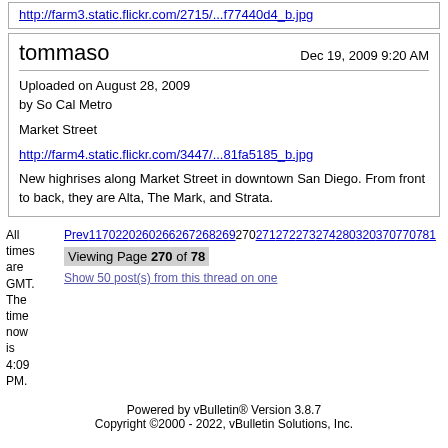http://farm3.static.flickr.com/2715/...f77440d4_b.jpg
tommaso
Dec 19, 2009 9:20 AM
Uploaded on August 28, 2009
by So Cal Metro

Market Street

http://farm4.static.flickr.com/3447/...81fa5185_b.jpg

New highrises along Market Street in downtown San Diego. From front to back, they are Alta, The Mark, and Strata.
All times are GMT. The time now is 4:09 PM.
Prev1170220260266267268269270271272273274280320370770781
Viewing Page 270 of 78
Show 50 post(s) from this thread on one
Powered by vBulletin® Version 3.8.7
Copyright ©2000 - 2022, vBulletin Solutions, Inc.